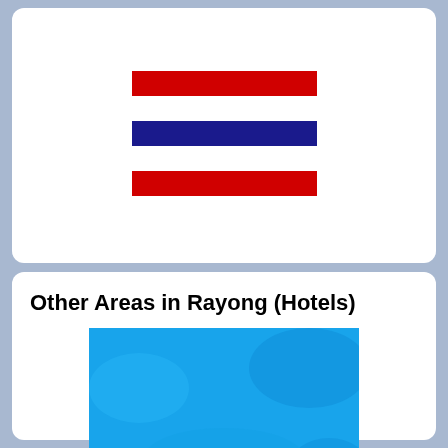[Figure (illustration): Thailand flag with red, white, blue, white, red horizontal stripes]
Other Areas in Rayong (Hotels)
[Figure (photo): Blue-tinted outdoor photo, possibly a swimming pool or beach area in Rayong]
Klaeng Hotels (162)